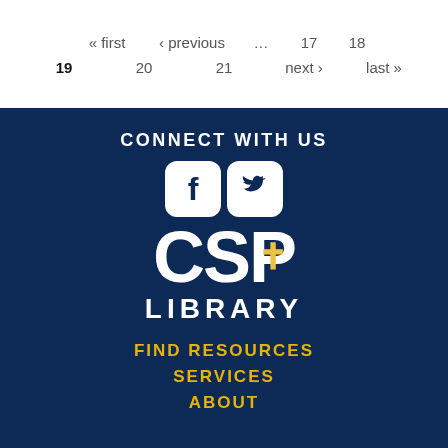« first  ‹ previous  …  17  18  19  20  21  next ›  last »
[Figure (logo): CSP Library logo with Facebook and Twitter social media icons on dark navy background]
CONNECT WITH US
CSP LIBRARY
FIND RESOURCES
SERVICES
ABOUT